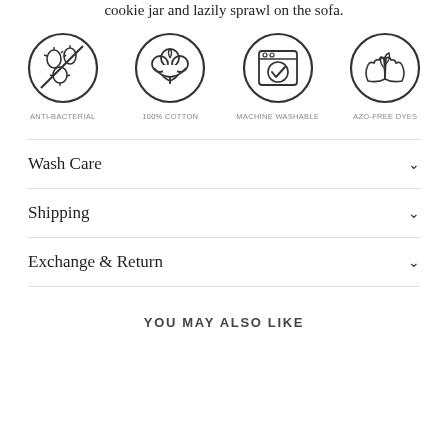cookie jar and lazily sprawl on the sofa.
[Figure (infographic): Four circular icons representing product features: Anti-Bacterial (bacteria with cross), 100% Cotton (cotton plant cloud), Machine Washable (washing machine with checkmark), Azo-Free Dyes (hands holding leaf/plant)]
Wash Care
Shipping
Exchange & Return
YOU MAY ALSO LIKE